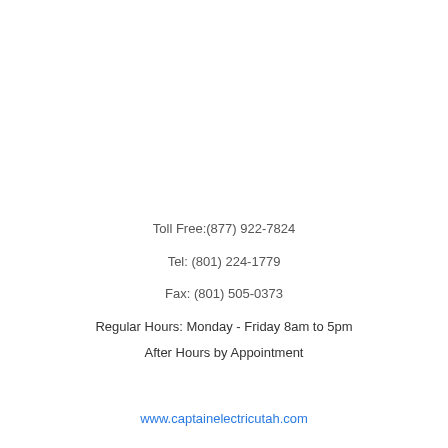Toll Free:(877) 922-7824
Tel: (801) 224-1779
Fax: (801) 505-0373
Regular Hours: Monday - Friday 8am to 5pm
After Hours by Appointment
www.captainelectricutah.com